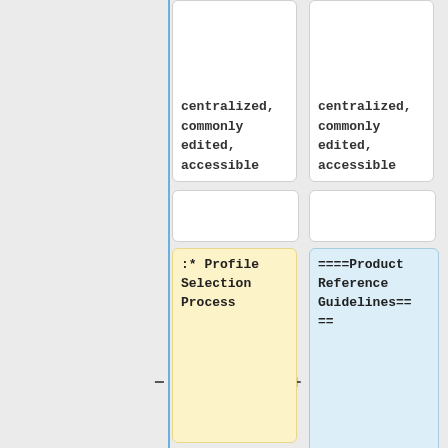centralized, commonly edited, accessible
centralized, commonly edited, accessible
:* Profile Selection Process
====Product Reference Guidelines====
::* Consider additional criteria/evaluation based on experiences
* Draft Guidelines for Reference Implementations and commercial products in Profiles
:* e.g., the